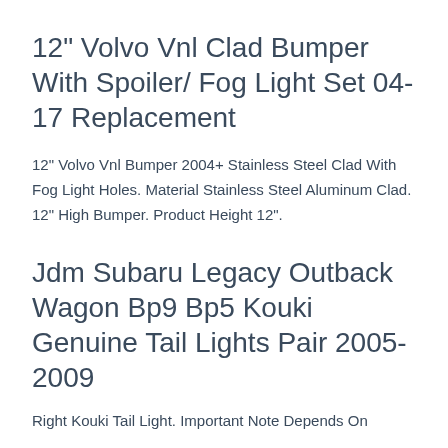12" Volvo Vnl Clad Bumper With Spoiler/ Fog Light Set 04-17 Replacement
12" Volvo Vnl Bumper 2004+ Stainless Steel Clad With Fog Light Holes. Material Stainless Steel Aluminum Clad. 12" High Bumper. Product Height 12".
Jdm Subaru Legacy Outback Wagon Bp9 Bp5 Kouki Genuine Tail Lights Pair 2005-2009
Right Kouki Tail Light. Important Note Depends On